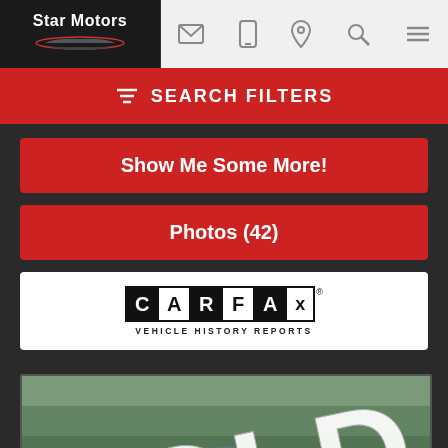Star Motors
SEARCH FILTERS
Show Me Some More!
Photos (42)
[Figure (logo): CARFAX Vehicle History Reports logo]
[Figure (photo): Car photo with large SOLD overlay text, showing a dark colored sedan in a dealership lot with trees in background]